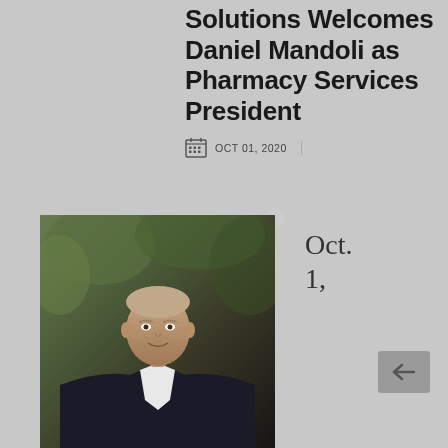Solutions Welcomes Daniel Mandoli as Pharmacy Services President
OCT 01, 2020
[Figure (photo): Professional headshot of Daniel Mandoli, a middle-aged man with light hair wearing a dark suit jacket and white shirt, photographed outdoors with green foliage in the background.]
Oct. 1,